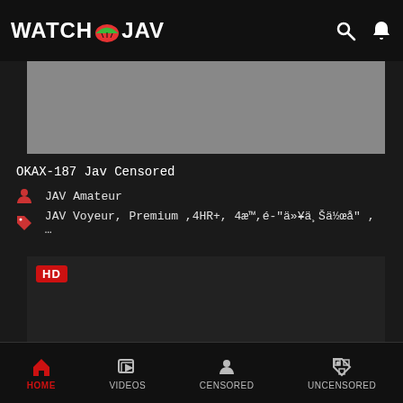WATCH JAV
[Figure (screenshot): Gray video thumbnail placeholder]
OKAX-187 Jav Censored
JAV Amateur
JAV Voyeur, Premium ,4HR+, 4æ™,é-"ä»¥ä¸Šä½œå" , ...
[Figure (screenshot): Black video player area with HD badge]
HOME   VIDEOS   CENSORED   UNCENSORED